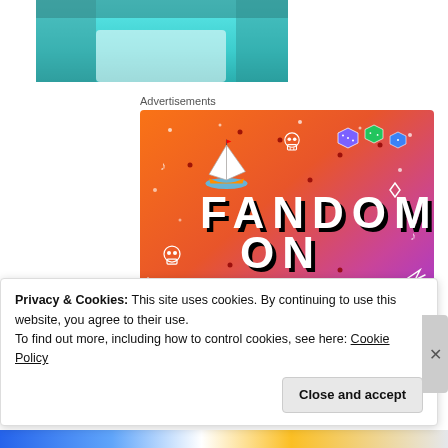[Figure (photo): Partial photo showing teal/turquoise fabric or costume, cropped at top of page]
Advertisements
[Figure (illustration): Tumblr advertisement banner with colorful gradient background (orange to purple), featuring text 'FANDOM ON tumblr' in large bold letters with doodle icons including a sailboat, skull, octopus, dice, and leaf characters]
Privacy & Cookies: This site uses cookies. By continuing to use this website, you agree to their use.
To find out more, including how to control cookies, see here: Cookie Policy
Close and accept